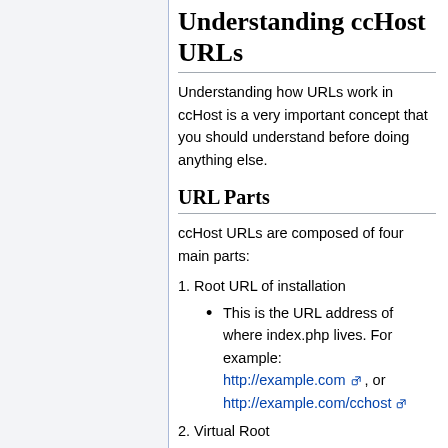Understanding ccHost URLs
Understanding how URLs work in ccHost is a very important concept that you should understand before doing anything else.
URL Parts
ccHost URLs are composed of four main parts:
1. Root URL of installation
This is the URL address of where index.php lives. For example: http://example.com, or http://example.com/cchost
2. Virtual Root
Don't worry if you don't know what a